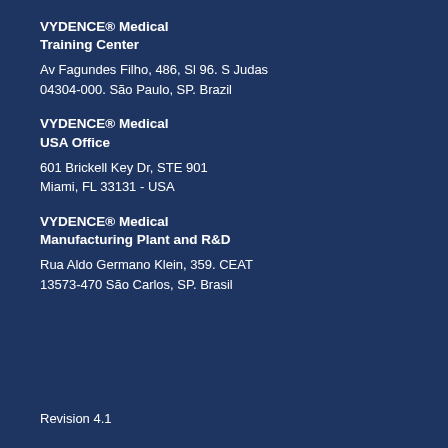VYDENCE® Medical Training Center
Av Fagundes Filho, 486, Sl 96. S Judas
04304-000. São Paulo, SP. Brazil
VYDENCE® Medical USA Office
601 Brickell Key Dr, STE 901
Miami, FL 33131 - USA
VYDENCE® Medical Manufacturing Plant and R&D
Rua Aldo Germano Klein, 359. CEAT
13573-470 São Carlos, SP. Brasil
Revision 4.1